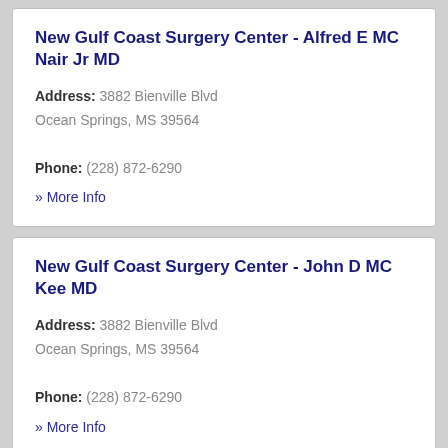New Gulf Coast Surgery Center - Alfred E MC Nair Jr MD
Address: 3882 Bienville Blvd Ocean Springs, MS 39564 Phone: (228) 872-6290
» More Info
New Gulf Coast Surgery Center - John D MC Kee MD
Address: 3882 Bienville Blvd Ocean Springs, MS 39564 Phone: (228) 872-6290
» More Info